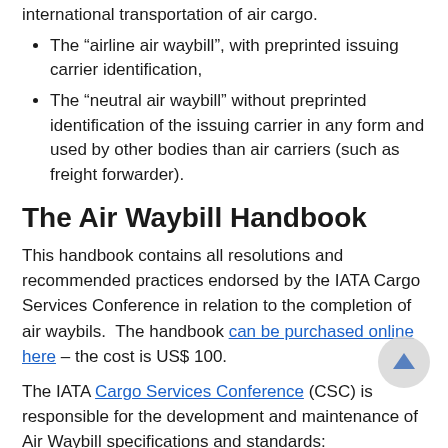international transportation of air cargo.
The “airline air waybill”, with preprinted issuing carrier identification,
The “neutral air waybill” without preprinted identification of the issuing carrier in any form and used by other bodies than air carriers (such as freight forwarder).
The Air Waybill Handbook
This handbook contains all resolutions and recommended practices endorsed by the IATA Cargo Services Conference in relation to the completion of air waybils. The handbook can be purchased online here – the cost is US$ 100.
The IATA Cargo Services Conference (CSC) is responsible for the development and maintenance of Air Waybill specifications and standards: